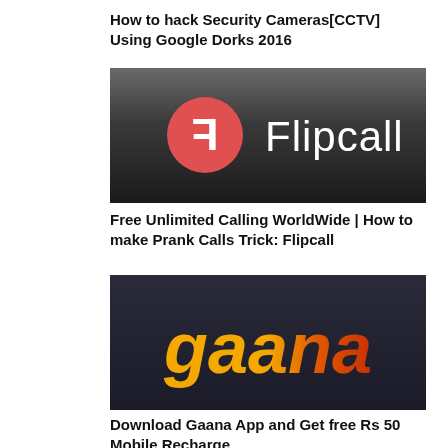How to hack Security Cameras[CCTV] Using Google Dorks 2016
[Figure (logo): Flipcall logo: dark metallic background with a red circle containing a mirrored F letter and white text 'Flipcall']
Free Unlimited Calling WorldWide | How to make Prank Calls Trick: Flipcall
[Figure (logo): Gaana app logo: dark background with large 'gaana' text in yellow-to-orange gradient]
Download Gaana App and Get free Rs 50 Mobile Recharge